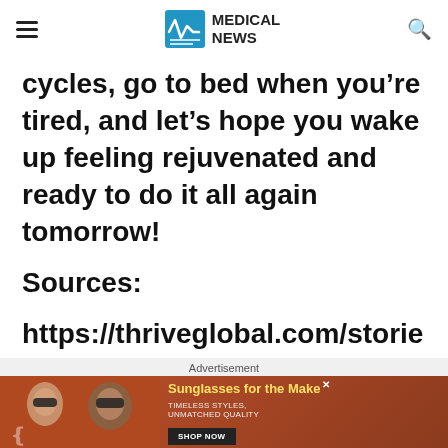MEDICAL NEWS
cycles, go to bed when you’re tired, and let’s hope you wake up feeling rejuvenated and ready to do it all again tomorrow!
Sources:
https://thriveglobal.com/stories/the-benefits-and-limitations-of-using-sleep-
Advertisement
[Figure (photo): Advertisement banner showing two women wearing sunglasses with text 'Sunglasses for the Make' and a Shop Now button]